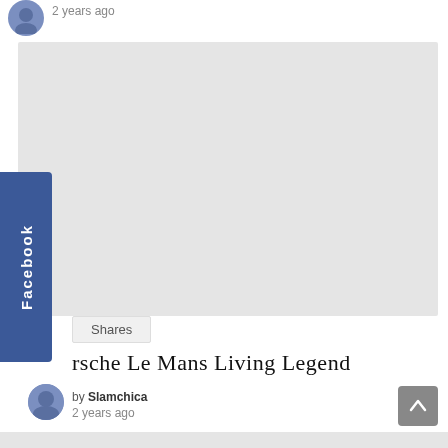2 years ago
[Figure (other): Gray placeholder rectangle representing an image or advertisement area]
Shares
rsche Le Mans Living Legend
by Slamchica
2 years ago